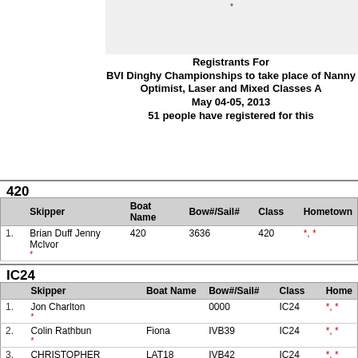[Figure (other): Gray box with asterisk, top section of document page]
Registrants For
BVI Dinghy Championships to take place of Nanny Optimist, Laser and Mixed Classes A
May 04-05, 2013
51 people have registered for this
420
|  | Skipper | Boat Name | Bow#/Sail# | Class | Hometown |
| --- | --- | --- | --- | --- | --- |
| 1. | Brian Duff Jenny McIvor
* | 420 | 3636 | 420 | *, * |
IC24
|  | Skipper | Boat Name | Bow#/Sail# | Class | Home |
| --- | --- | --- | --- | --- | --- |
| 1. | Jon Charlton
* |  | 0000 | IC24 | *, * |
| 2. | Colin Rathbun
* | Fiona | IVB39 | IC24 | *, * |
| 3. | CHRISTOPHER HAYCRAFT
* | LAT18 | IVB42 | IC24 | *, * |